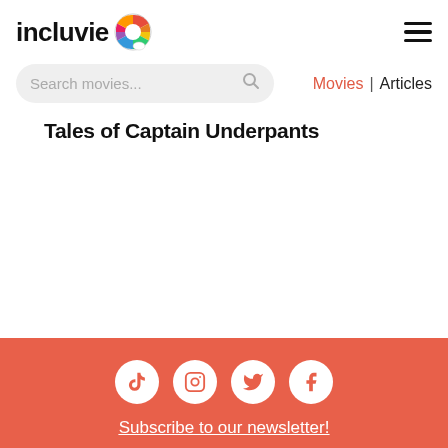incluvie [logo] [hamburger menu]
Search movies... | Movies | Articles
Tales of Captain Underpants
Social icons: TikTok, Instagram, Twitter, Facebook. Subscribe to our newsletter!